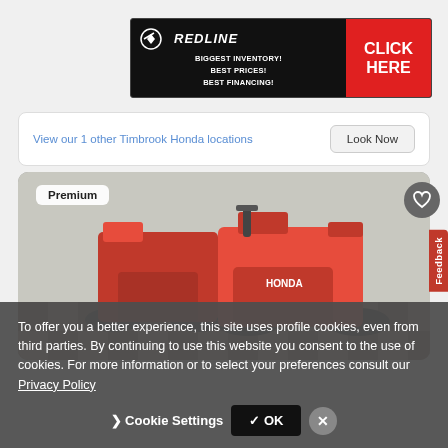[Figure (screenshot): Redline dealership advertisement banner with logo, taglines 'BIGGEST INVENTORY! BEST PRICES! BEST FINANCING!' and red CLICK HERE button]
View our 1 other Timbrook Honda locations   Look Now
[Figure (photo): Multiple red Honda dirt/trail motorcycles displayed in a dealership showroom with checkered tile floor]
To offer you a better experience, this site uses profile cookies, even from third parties. By continuing to use this website you consent to the use of cookies. For more information or to select your preferences consult our Privacy Policy
Cookie Settings  ✓ OK